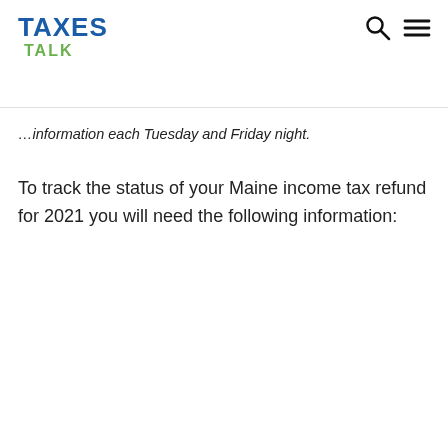TAXES TALK
…information each Tuesday and Friday night.
To track the status of your Maine income tax refund for 2021 you will need the following information: